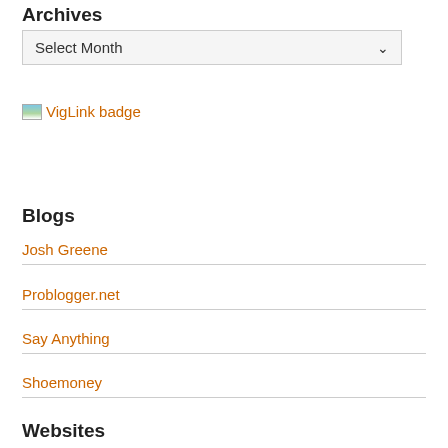Archives
Select Month
[Figure (other): VigLink badge with small landscape icon and orange text 'VigLink badge']
Blogs
Josh Greene
Problogger.net
Say Anything
Shoemoney
Websites